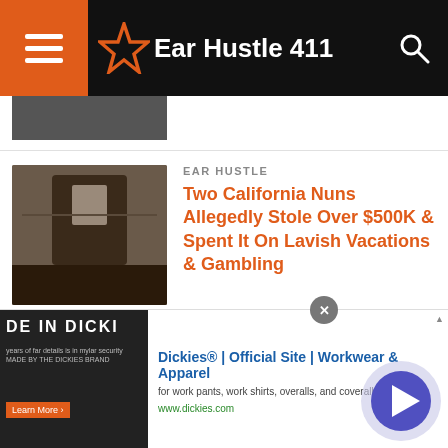Ear Hustle 411
[Figure (screenshot): Partial article thumbnail at top of feed]
EAR HUSTLE
Two California Nuns Allegedly Stole Over $500K & Spent It On Lavish Vacations & Gambling
[Figure (photo): Thumbnail image for nuns article]
EAR HUSTLE
4- Year Old Boy With Cancer Gets His Wish To Meet NBA Star Steph Curry
[Figure (photo): Thumbnail image for boy with cancer article]
EAR HUSTLE
Black Parker Has Lucrative Busin...
[Figure (photo): Partial thumbnail for third article]
Dickies® | Official Site | Workwear & Apparel
for work pants, work shirts, overalls, and coveralls.
www.dickies.com